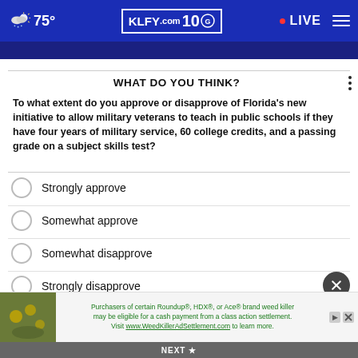KLFY.com 10 | 75° | LIVE
WHAT DO YOU THINK?
To what extent do you approve or disapprove of Florida's new initiative to allow military veterans to teach in public schools if they have four years of military service, 60 college credits, and a passing grade on a subject skills test?
Strongly approve
Somewhat approve
Somewhat disapprove
Strongly disapprove
(partially visible)
Purchasers of certain Roundup®, HDX®, or Ace® brand weed killer may be eligible for a cash payment from a class action settlement. Visit www.WeedKillerAdSettlement.com to learn more.
NEXT ★